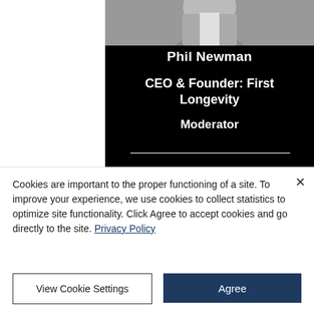[Figure (photo): Top portion of a person in a grey suit and white shirt, partially cropped at the top of the card]
Phil Newman
CEO & Founder: First Longevity
Moderator
[Figure (photo): Partially visible photo of a person with dark hair against a blurred teal/dark background, cropped at the bottom of the visible area]
Cookies are important to the proper functioning of a site. To improve your experience, we use cookies to collect statistics to optimize site functionality. Click Agree to accept cookies and go directly to the site. Privacy Policy
View Cookie Settings
Agree